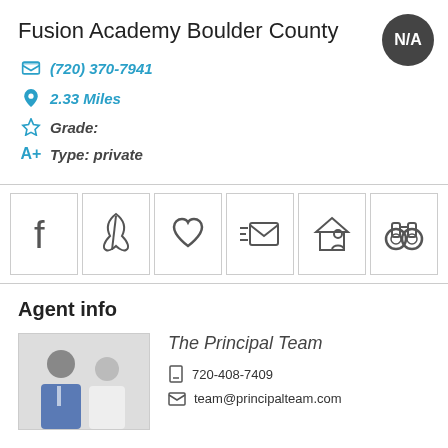Fusion Academy Boulder County
(720) 370-7941
2.33 Miles
Grade:
Type: private
[Figure (infographic): Row of 6 icon buttons: Facebook, PDF/document, Heart/favorite, Email, Home with person, Binoculars]
Agent info
[Figure (photo): Photo of two men in business attire, agent team photo]
The Principal Team
720-408-7409
team@principalteam.com